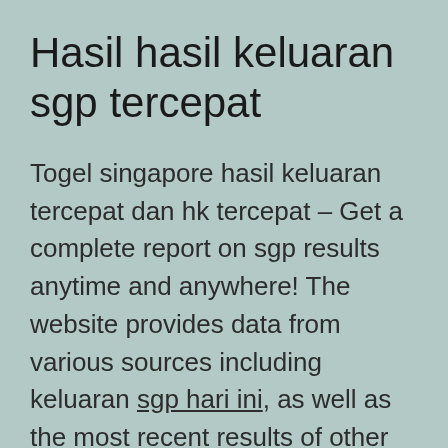Hasil hasil keluaran sgp tercepat
Togel singapore hasil keluaran tercepat dan hk tercepat – Get a complete report on sgp results anytime and anywhere! The website provides data from various sources including keluaran sgp hari ini, as well as the most recent results of other sites. This way, you can be sure of making a profit!
You can also get a copy of the latest results of SGPP by logging into your account on the